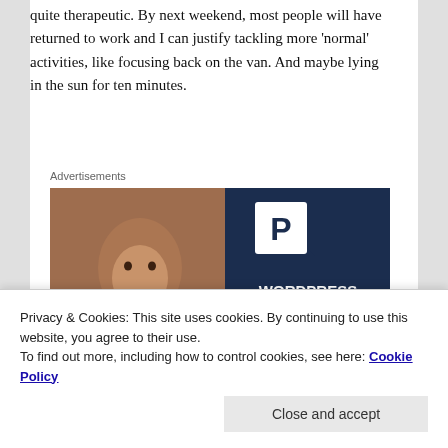quite therapeutic. By next weekend, most people will have returned to work and I can justify tackling more 'normal' activities, like focusing back on the van. And maybe lying in the sun for ten minutes.
Advertisements
[Figure (illustration): WordPress hosting advertisement banner. Left half shows a woman smiling holding an OPEN sign. Right half is dark navy blue with a stylized P logo and text reading WORDPRESS HOSTING THAT MEANS BUSINESS.]
Privacy & Cookies: This site uses cookies. By continuing to use this website, you agree to their use.
To find out more, including how to control cookies, see here: Cookie Policy